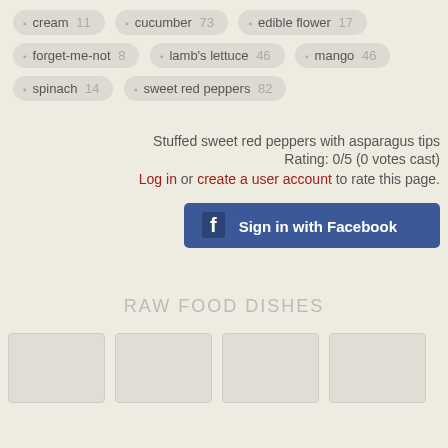cream 11
cucumber 73
edible flower 17
forget-me-not 8
lamb's lettuce 46
mango 46
spinach 14
sweet red peppers 82
Stuffed sweet red peppers with asparagus tips
Rating: 0/5 (0 votes cast)
Log in or create a user account to rate this page.
[Figure (screenshot): Sign in with Facebook button]
RAW FOOD DISHES
[Figure (other): Four thumbnail image placeholders]